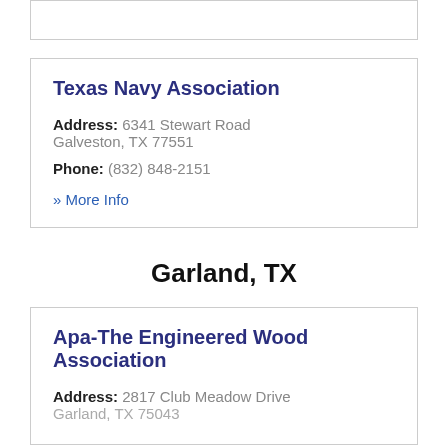(stub card top)
Texas Navy Association
Address: 6341 Stewart Road Galveston, TX 77551
Phone: (832) 848-2151
» More Info
Garland, TX
Apa-The Engineered Wood Association
Address: 2817 Club Meadow Drive Garland, TX 75043